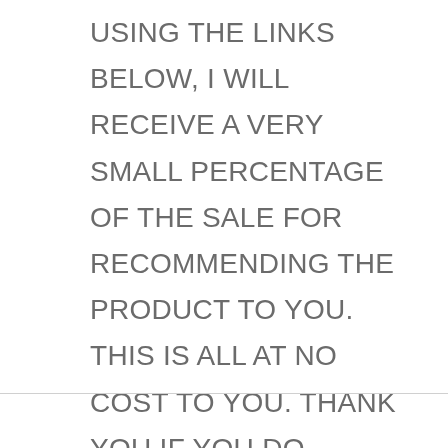USING THE LINKS BELOW, I WILL RECEIVE A VERY SMALL PERCENTAGE OF THE SALE FOR RECOMMENDING THE PRODUCT TO YOU. THIS IS ALL AT NO COST TO YOU. THANK YOU IF YOU DO PURCHASE SOMETHING FROM AMAZON THAT WAS USED IN MAKING THESE RECIPES.